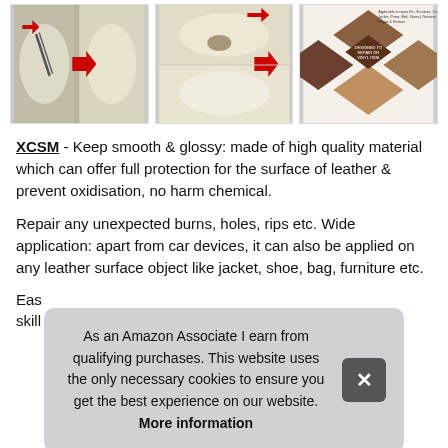[Figure (photo): Three product images side by side: left shows a car seat with scratch before/after with red arrow, middle shows a leather sofa stain before/after with red arrow, right shows a product collage with leather goods and diamond-shaped graphic.]
XCSM - Keep smooth & glossy: made of high quality material which can offer full protection for the surface of leather & prevent oxidisation, no harm chemical.
Repair any unexpected burns, holes, rips etc. Wide application: apart from car devices, it can also be applied on any leather surface object like jacket, shoe, bag, furniture etc.
As an Amazon Associate I earn from qualifying purchases. This website uses the only necessary cookies to ensure you get the best experience on our website. More information
Eas[y to use, no special] skill[s required...]